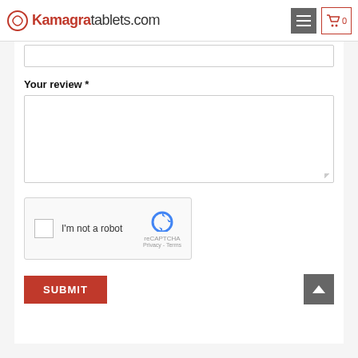[Figure (logo): Kamagratablets.com logo with navigation menu button and cart icon showing 0 items]
[Figure (screenshot): Partial text input field at top of form (cut off)]
Your review *
[Figure (screenshot): Large textarea for review input]
[Figure (screenshot): reCAPTCHA widget with checkbox, 'I'm not a robot' text, reCAPTCHA logo, Privacy and Terms links]
[Figure (screenshot): SUBMIT button in red and back-to-top arrow button in grey]